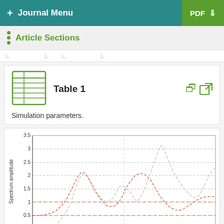+ Journal Menu   PDF ↓
Article Sections
Table 1
Simulation parameters.
[Figure (continuous-plot): Line chart showing Spectrum amplitude vs Normalized frequency. Two dashed curves (one reddish-orange, one light gray/white) are plotted over the range -0.5 to 0.5 on x-axis and 0 to 3.5 on y-axis. The orange dashed curve has peaks near -0.25 (amplitude ~2.1) and near 0 (amplitude ~1.3) and near 0.35 (amplitude ~2.1). The gray dotted curve has a large peak near 0.25 (amplitude ~3.0) and smaller values elsewhere. Horizontal dashed reference lines at y=0.5 and y=1.0.]